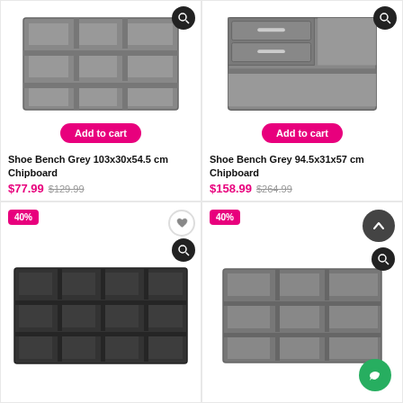[Figure (photo): Grey shoe bench/shelf unit with 9 open cubbies, 3x3 grid layout]
Add to cart
Shoe Bench Grey 103x30x54.5 cm Chipboard
$77.99  $129.99
[Figure (photo): Grey shoe bench with 2 drawers on top and open shelf below]
Add to cart
Shoe Bench Grey 94.5x31x57 cm Chipboard
$158.99  $264.99
[Figure (photo): Black shoe shelf unit with 12 open cubbies, 3x4 grid layout, 40% discount badge]
[Figure (photo): Dark grey shoe shelf unit with 9 open cubbies, 3x3 grid layout, 40% discount badge, chat and arrow-up buttons]